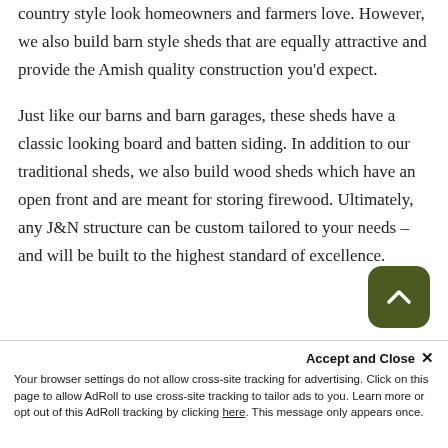country style look homeowners and farmers love. However, we also build barn style sheds that are equally attractive and provide the Amish quality construction you'd expect.

Just like our barns and barn garages, these sheds have a classic looking board and batten siding. In addition to our traditional sheds, we also build wood sheds which have an open front and are meant for storing firewood. Ultimately, any J&N structure can be custom tailored to your needs – and will be built to the highest standard of excellence.
[Figure (other): Dark olive green rounded square button with a white upward-pointing chevron arrow, used as a scroll-to-top button]
Accept and Close ×
Your browser settings do not allow cross-site tracking for advertising. Click on this page to allow AdRoll to use cross-site tracking to tailor ads to you. Learn more or opt out of this AdRoll tracking by clicking here. This message only appears once.